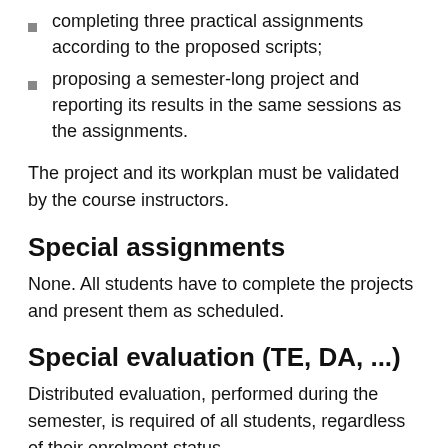completing three practical assignments according to the proposed scripts;
proposing a semester-long project and reporting its results in the same sessions as the assignments.
The project and its workplan must be validated by the course instructors.
Special assignments
None. All students have to complete the projects and present them as scheduled.
Special evaluation (TE, DA, ...)
Distributed evaluation, performed during the semester, is required of all students, regardless of their enrolment status.
Improvement of final/distributed